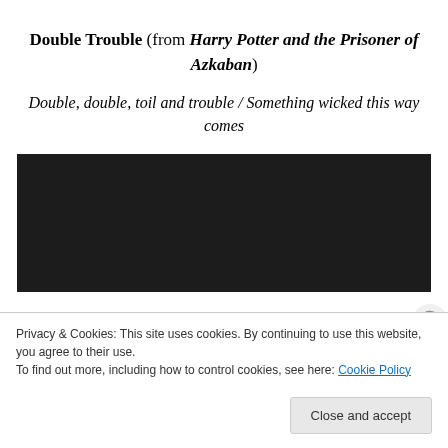Double Trouble (from Harry Potter and the Prisoner of Azkaban)
Double, double, toil and trouble / Something wicked this way comes
[Figure (other): Embedded video player with dark/black background]
Privacy & Cookies: This site uses cookies. By continuing to use this website, you agree to their use.
To find out more, including how to control cookies, see here: Cookie Policy